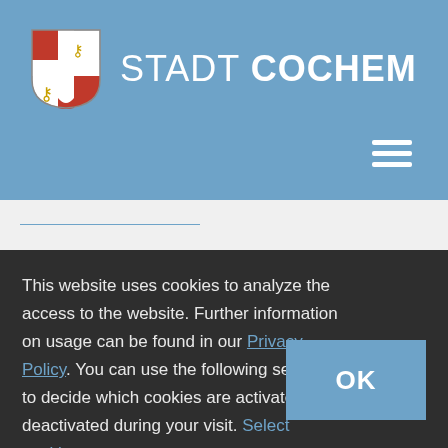[Figure (logo): Stadt Cochem coat of arms shield with red and white cross and eagle, followed by text STADT COCHEM]
[Figure (other): Hamburger menu icon (three horizontal lines) on blue background]
This website uses cookies to analyze the access to the website. Further information on usage can be found in our Privacy Policy. You can use the following selection to decide which cookies are activated / deactivated during your visit. Select cookies v